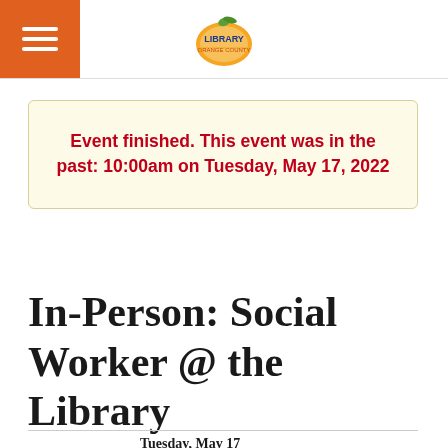Orange County Library System
Event finished. This event was in the past: 10:00am on Tuesday, May 17, 2022
In-Person: Social Worker @ the Library
Tuesday, May 17